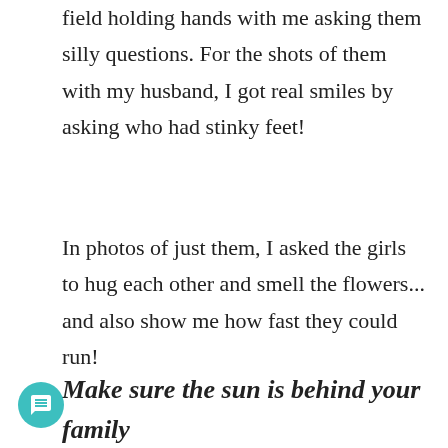field holding hands with me asking them silly questions. For the shots of them with my husband, I got real smiles by asking who had stinky feet!
In photos of just them, I asked the girls to hug each other and smell the flowers... and also show me how fast they could run!
Make sure the sun is behind your family